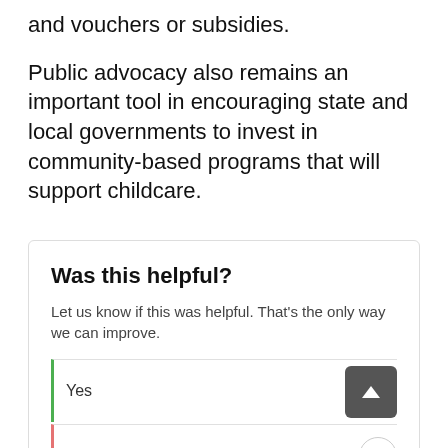and vouchers or subsidies.
Public advocacy also remains an important tool in encouraging state and local governments to invest in community-based programs that will support childcare.
Was this helpful?
Let us know if this was helpful. That’s the only way we can improve.
|  | Count |
| --- | --- |
| Yes | 0 |
| No | 0 |